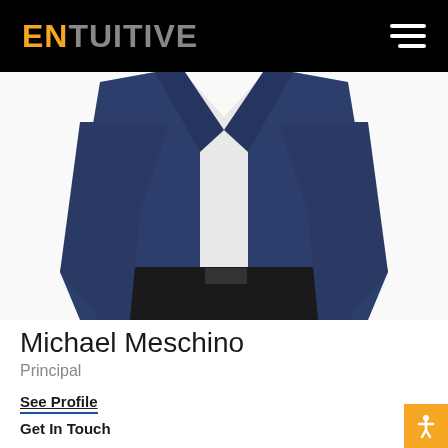ENTUITIVE
[Figure (photo): A man wearing a navy blue blazer over a white shirt, shown from the neck/shoulder area down to the waist, against a white background.]
Michael Meschino
Principal
See Profile
Get In Touch